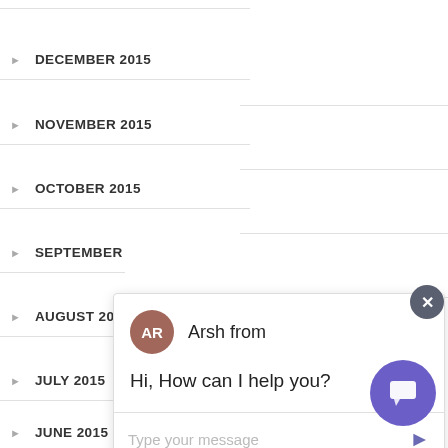DECEMBER 2015
NOVEMBER 2015
OCTOBER 2015
SEPTEMBER
AUGUST 20
JULY 2015
JUNE 2015
MAY 2015
APRIL 2015
[Figure (screenshot): Live chat popup widget showing agent 'Arsh from' with avatar initials AR, message 'Hi, How can I help you?', and a text input area with placeholder 'Type your message' and a send arrow button. A close (×) button appears at top right of popup. A purple chat launcher button is at bottom right of page.]